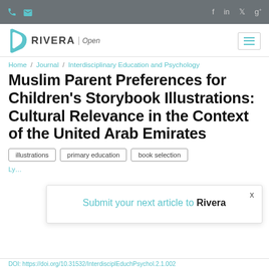Rivera Open — navigation bar with phone, email icons and social media icons (f, in, twitter, g+)
[Figure (logo): Rivera Open publisher logo with teal book icon]
Home / Journal / Interdisciplinary Education and Psychology
Muslim Parent Preferences for Children's Storybook Illustrations: Cultural Relevance in the Context of the United Arab Emirates
illustrations
primary education
book selection
Submit your next article to Rivera
DOI: https://doi.org/10.31532/InterdisciplEduchPsychol.2.1.002